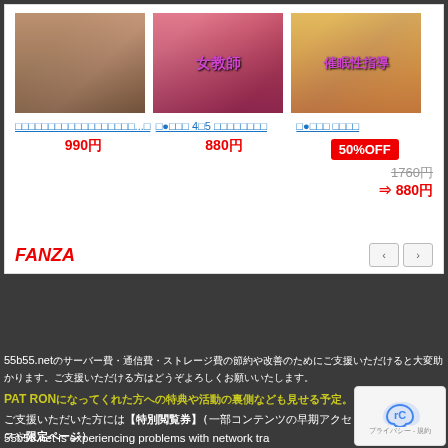[Figure (screenshot): FANZA manga/doujin widget showing three anime-style cover images with Japanese titles and prices. First item: 990円, Second item: 880円, Third item: 50%OFF badge with original price 1760円 and sale price ⇒ 880円. FANZA logo and navigation arrows at bottom.]
[Figure (logo): Patreon 'BECOME A PATRON' button with red/coral background, Patreon logo (bar and circle), and white bold text.]
55b55.netのサーバー費・通信費・ストレージ費の節約や改善のためにご支援いただけると大変助かります。
PATRONになってくれた方への特典や活動の裏側を見せる予定です。
ご支援いただいた方には【特別閲覧券】(一部コンテンツの早期アクセスや限定ページ)を配布予定です。
55b55.net is experiencing problems with network tra... storage size, and server performance. Please help with the...